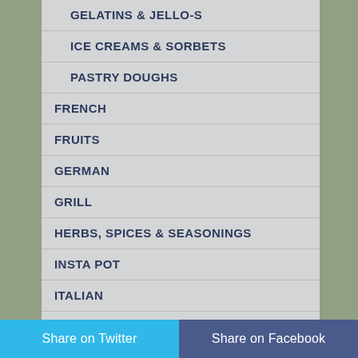GELATINS & JELLO-S
ICE CREAMS & SORBETS
PASTRY DOUGHS
FRENCH
FRUITS
GERMAN
GRILL
HERBS, SPICES & SEASONINGS
INSTA POT
ITALIAN
JAMS & TOPPINGS
LEFTOVERS
Share on Twitter    Share on Facebook